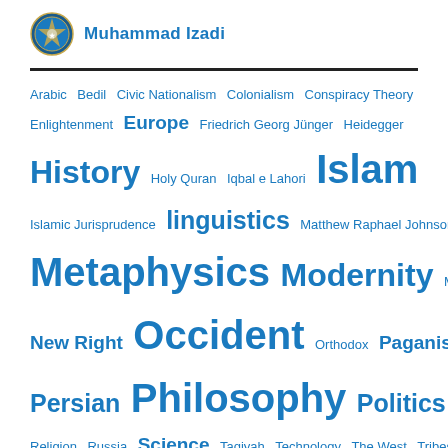Muhammad Izadi
[Figure (other): Circular emblem/logo with decorative pattern in blue and gold]
Arabic  Bedil  Civic Nationalism  Colonialism  Conspiracy Theory  Enlightenment  Europe  Friedrich Georg Jünger  Heidegger  History  Holy Quran  Iqbal e Lahori  Islam  Islamic Jurisprudence  linguistics  Matthew Raphael Johnson  Metaphysics  Modernity  Muhammad Iqbal  New Right  Occident  Orthodox  Paganism  Persian  Philosophy  Politics  Qur'an  Race  Religion  Russia  Science  Taqiyah  Technology  The West  Tribes  Ukraine  West  White Nationalism  White Race